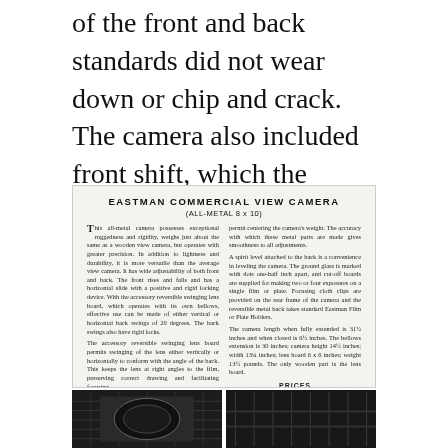of the front and back standards did not wear down or chip and crack. The camera also included front shift, which the Eastman wooden cameras never had.
EASTMAN COMMERCIAL VIEW CAMERA
(ALL-METAL 8 x 10)
This all-metal camera possesses exceptional ruggedness and rigidity, weighs just about the same as a wooden view camera, but operates with greater precision. In addition to lightness and durability, it is more versatile than the average view camera. It has wide adjustability of both front and back. The front rises and falls and has a horizontal slide with a positive and rigid locking device. With the accessory reversible swinging lens board, which operates with its own bellows, effective use can be made of either vertical or horizontal back swings of 20 degrees. The back swings also have rigid locks.

The accessory reversible swinging lens board permits swinging of the lens either vertically or horizontally to conform with the angle of the back. This keeps the lens at right angles to the film, preserving correct drawing and facilitating focusing.

Both front and back are operated by rack and pinion on metal bed rails, and there are front and rear extensions and a rack and pinion sliding tripod block, operated to
permit centering the camera's weight. The accuracy with which these metal parts are made gives smoothness to all adjustments.

A spirit level attached to the back is a convenience in leveling the camera. The ground glass is marked with dots one-half inch apart, and cut-off boards are supplied for making two or four exposures on a single film or plate. Focusing cloth clips are provided on the rear frame of the camera and the reversible metal back takes standard Eastman Film or Plate Holders.

The camera length when fully extended is 31½ inches and when closed is 6½ inches. The bellows extension is 30 inches; camera height 14½ inches; width 13¼ inches; lens board 6 x 6 inches; weight 13½ pounds. The only wooden part is the lens board.
PRICES
| Item | Price |
| --- | --- |
| Eastman Commercial View Camera, 8 x 10, with one 8 x 10 film or plate holder | $175.00 |
| Extra Lens Board, 6 x 6 inches | 3.75 |
| Reversible Swinging Lens Board | 18.50 |
| Black Fiber Carrying Case for camera and six holders | 22.00 |
[Figure (photo): Black and white photograph of the Eastman Commercial View Camera bellows/front standard detail]
[Figure (photo): Black and white photograph of the Eastman Commercial View Camera showing lens board and bellows]